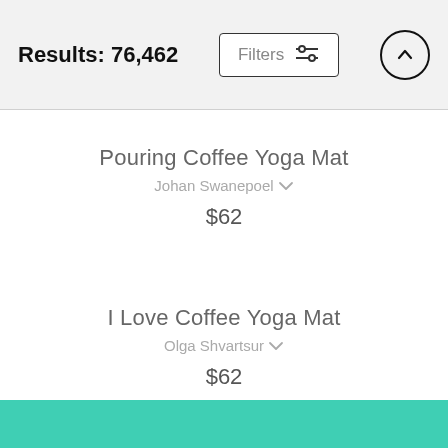Results: 76,462
Pouring Coffee Yoga Mat
Johan Swanepoel
$62
I Love Coffee Yoga Mat
Olga Shvartsur
$62